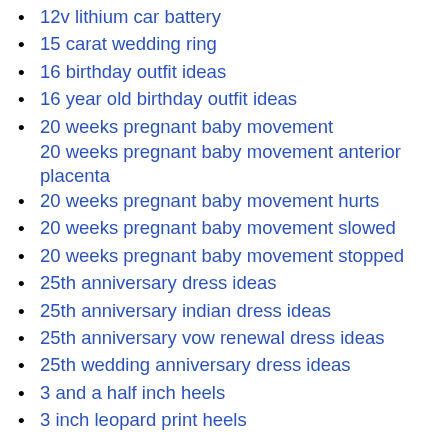12v lithium car battery
15 carat wedding ring
16 birthday outfit ideas
16 year old birthday outfit ideas
20 weeks pregnant baby movement
20 weeks pregnant baby movement anterior placenta
20 weeks pregnant baby movement hurts
20 weeks pregnant baby movement slowed
20 weeks pregnant baby movement stopped
25th anniversary dress ideas
25th anniversary indian dress ideas
25th anniversary vow renewal dress ideas
25th wedding anniversary dress ideas
3 and a half inch heels
3 inch leopard print heels